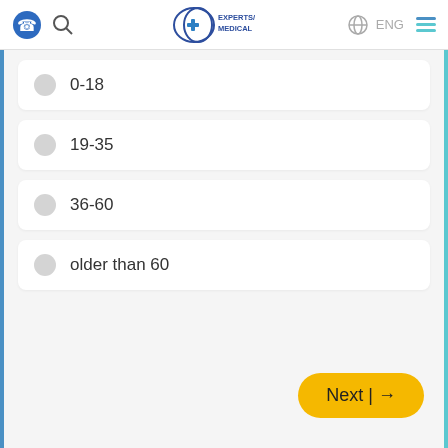Experts/Medical — ENG
0-18
19-35
36-60
older than 60